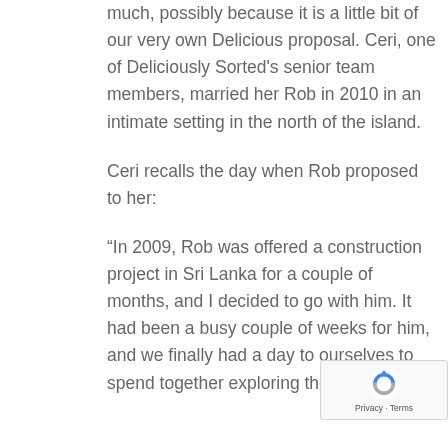much, possibly because it is a little bit of our very own Delicious proposal. Ceri, one of Deliciously Sorted's senior team members, married her Rob in 2010 in an intimate setting in the north of the island.
Ceri recalls the day when Rob proposed to her:
“In 2009, Rob was offered a construction project in Sri Lanka for a couple of months, and I decided to go with him. It had been a busy couple of weeks for him, and we finally had a day to ourselves to spend together exploring the city.